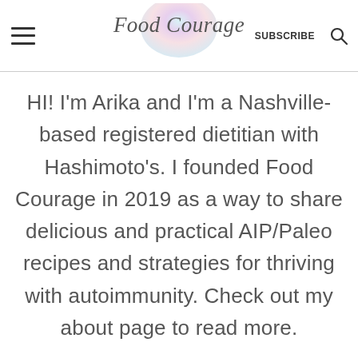Food Courage | SUBSCRIBE
HI! I'm Arika and I'm a Nashville-based registered dietitian with Hashimoto's. I founded Food Courage in 2019 as a way to share delicious and practical AIP/Paleo recipes and strategies for thriving with autoimmunity. Check out my about page to read more.